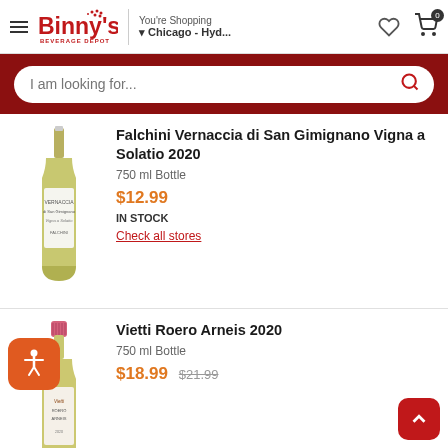Binny's Beverage Depot — You're Shopping Chicago - Hyd…
I am looking for...
[Figure (photo): Wine bottle — Falchini Vernaccia di San Gimignano Vigna a Solatio 2020]
Falchini Vernaccia di San Gimignano Vigna a Solatio 2020
750 ml Bottle
$12.99
IN STOCK
Check all stores
[Figure (photo): Wine bottle — Vietti Roero Arneis 2020 with pink foil cap]
Vietti Roero Arneis 2020
750 ml Bottle
$18.99  $21.99